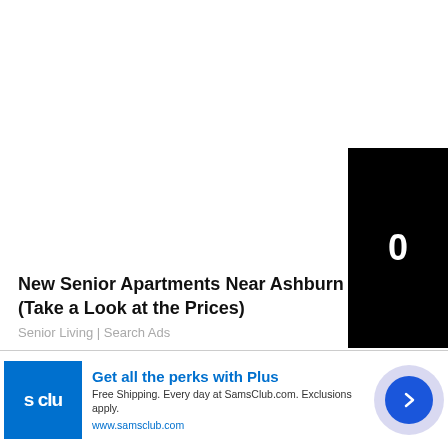[Figure (other): Large white empty area representing a web page content region]
[Figure (other): Black box partially visible on right side with number 0 displayed in white]
New Senior Apartments Near Ashburn (Take a Look at the Prices)
Senior Living | Search Ads
[Figure (other): Sam's Club advertisement banner with blue logo showing 's clu', headline 'Get all the perks with Plus', body text 'Free Shipping. Every day at SamsClub.com. Exclusions apply.', URL 'www.samsclub.com', and a blue arrow button on the right]